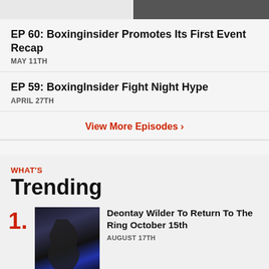[Figure (photo): Top strip showing two images: left portion light/white, right portion dark showing boxing event]
EP 60: Boxinginsider Promotes Its First Event Recap
MAY 11TH
EP 59: BoxingInsider Fight Night Hype
APRIL 27TH
View More Episodes >
WHAT'S Trending
1. Deontay Wilder To Return To The Ring October 15th — AUGUST 17TH